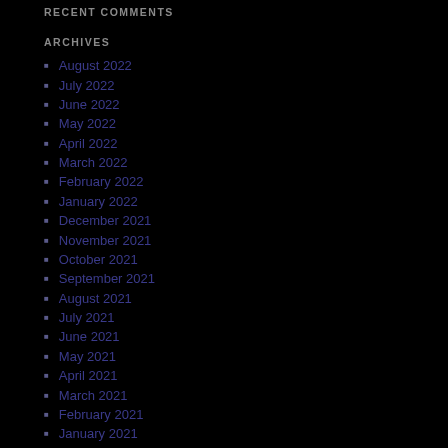RECENT COMMENTS
ARCHIVES
August 2022
July 2022
June 2022
May 2022
April 2022
March 2022
February 2022
January 2022
December 2021
November 2021
October 2021
September 2021
August 2021
July 2021
June 2021
May 2021
April 2021
March 2021
February 2021
January 2021
December 2020